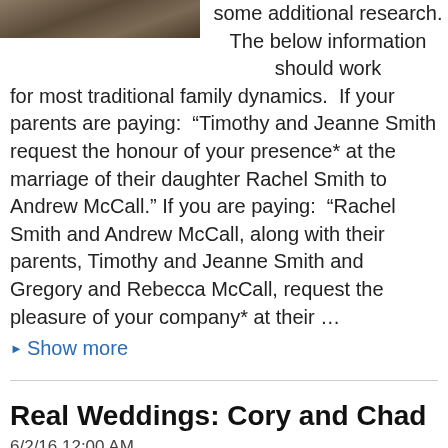[Figure (photo): Partial image of wooden surface/table at the top left]
some additional research. The below information should work for most traditional family dynamics.  If your parents are paying:  “Timothy and Jeanne Smith request the honour of your presence* at the marriage of their daughter Rachel Smith to Andrew McCall.” If you are paying:  “Rachel Smith and Andrew McCall, along with their parents, Timothy and Jeanne Smith and Gregory and Rebecca McCall, request the pleasure of your company* at their …
▶ Show more
Real Weddings: Cory and Chad
6/2/16 12:00 AM
[Figure (photo): Partial image at the bottom of the page]